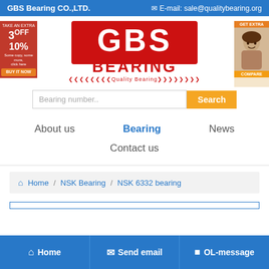GBS Bearing CO.,LTD.    ✉ E-mail: sale@qualitybearing.org
[Figure (logo): GBS BEARING logo in red block letters with Quality Bearing tagline]
Bearing number..  Search
About us    Bearing    News    Contact us
Home / NSK Bearing / NSK 6332 bearing
Home    Send email    OL-message